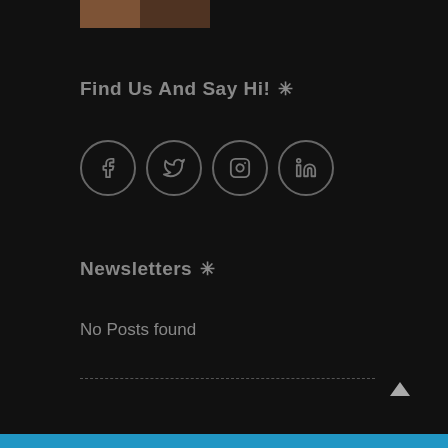[Figure (photo): Partial thumbnail image at top]
Find Us And Say Hi! ✳
[Figure (infographic): Four social media icon circles: Facebook, Twitter, Instagram, LinkedIn]
Newsletters ✳
No Posts found
Blue bar footer